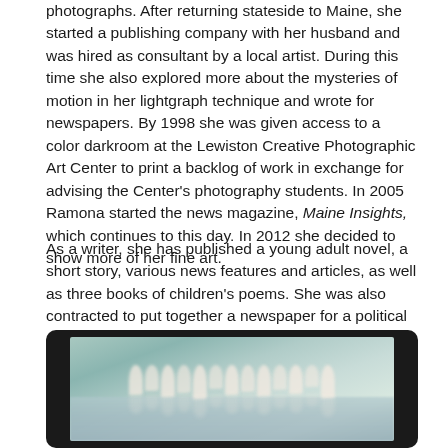photographs. After returning stateside to Maine, she started a publishing company with her husband and was hired as consultant by a local artist. During this time she also explored more about the mysteries of motion in her lightgraph technique and wrote for newspapers. By 1998 she was given access to a color darkroom at the Lewiston Creative Photographic Art Center to print a backlog of work in exchange for advising the Center's photography students. In 2005 Ramona started the news magazine, Maine Insights, which continues to this day. In 2012 she decided to show more of her fine art.
As a writer, she has published a young adult novel, a short story, various news features and articles, as well as three books of children's poems. She was also contracted to put together a newspaper for a political organization and a blog for the Maine Department of Economic and Community Development, while writing their newsletter.
[Figure (photo): A blurry artistic photograph displayed on a dark screen/monitor, showing multiple white sailboats on water with their reflections, rendered in soft muted teal and cream tones resembling a lightgraph or motion-blur art technique.]